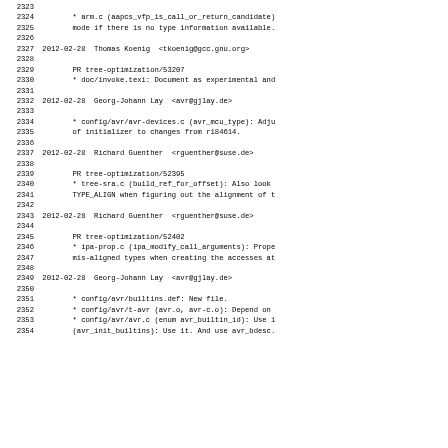2323
2324        * arm.c (aapcs_vfp_is_call_or_return_candidate)
2325        mode if there is no type information available.
2326
2327 2012-02-28  Thomas Koenig  <tkoenig@gcc.gnu.org>
2328
2329        PR tree-optimization/53207
2330        * doc/invoke.texi: Document as experimental and
2331
2332 2012-02-28  Georg-Johann Lay  <avr@gjlay.de>
2333
2334        * config/avr/avr-devices.c (avr_mcu_type): Adju
2335        of initializer to changes from r184614.
2336
2337 2012-02-28  Richard Guenther  <rguenther@suse.de>
2338
2339        PR tree-optimization/52395
2340        * tree-sra.c (build_ref_for_offset): Also look
2341        TYPE_ALIGN when figuring out the alignment of t
2342
2343 2012-02-28  Richard Guenther  <rguenther@suse.de>
2344
2345        PR tree-optimization/52402
2346        * ipa-prop.c (ipa_modify_call_arguments): Prope
2347        mis-aligned types when creating the accesses at
2348
2349 2012-02-28  Georg-Johann Lay  <avr@gjlay.de>
2350
2351        * config/avr/builtins.def: New file.
2352        * config/avr/t-avr (avr.o, avr-c.o): Depend on
2353        * config/avr/avr.c (enum avr_builtin_id): Use i
2354        (avr_init_builtins): Use it. And use avr_bdesc.